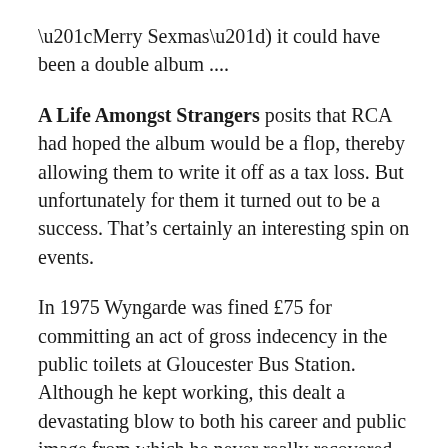“Merry Sexmas”) it could have been a double album ....
A Life Amongst Strangers posits that RCA had hoped the album would be a flop, thereby allowing them to write it off as a tax loss. But unfortunately for them it turned out to be a success. That’s certainly an interesting spin on events.
In 1975 Wyngarde was fined £75 for committing an act of gross indecency in the public toilets at Gloucester Bus Station. Although he kept working, this dealt a devastating blow to both his career and public image from which he never really recovered.  Wyngarde-Hopkins remains convinced he was innocent (and that